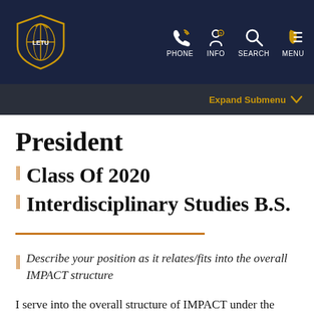LETU — PHONE INFO SEARCH MENU
Expand Submenu
President
Class Of 2020
Interdisciplinary Studies B.S.
Describe your position as it relates/fits into the overall IMPACT structure
I serve into the overall structure of IMPACT under the umbrella of Letourneau Student Ministries. LSM is led by a president who is not only our leader but also our